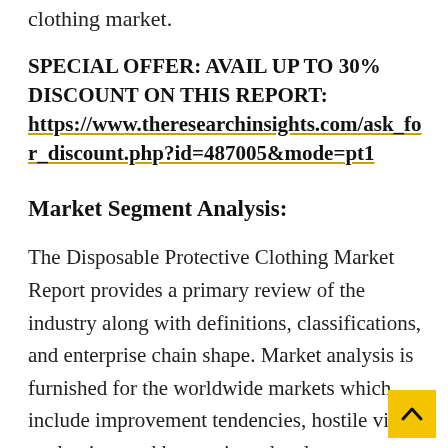clothing market.
SPECIAL OFFER: AVAIL UP TO 30% DISCOUNT ON THIS REPORT: https://www.theresearchinsights.com/ask_for_discount.php?id=487005&mode=pt1
Market Segment Analysis:
The Disposable Protective Clothing Market Report provides a primary review of the industry along with definitions, classifications, and enterprise chain shape. Market analysis is furnished for the worldwide markets which include improvement tendencies, hostile view evaluation, and key regions development. Development policies and plans are discussed